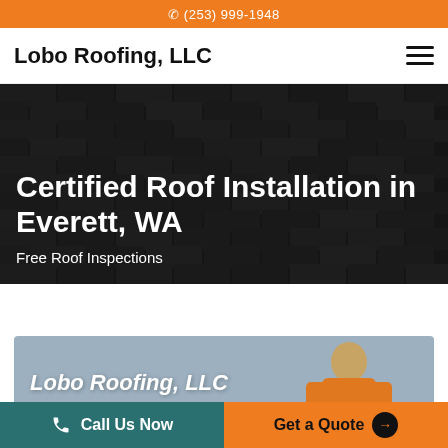(253) 999-1948
Lobo Roofing, LLC
[Figure (photo): Dark asphalt roof shingles close-up background with white text overlay reading 'Certified Roof Installation in Everett, WA' and subtext 'Free Roof Inspections']
Certified Roof Installation in Everett, WA
Free Roof Inspections
[Figure (photo): Light blue-grey card section with italic white text 'Lobo Roofing, LLC' and a person in an orange jacket visible on the right side]
Lobo Roofing, LLC
Call Us Now
Get a Quote